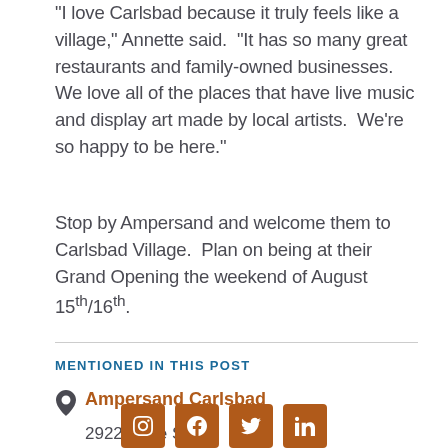“I love Carlsbad because it truly feels like a village,” Annette said.  “It has so many great restaurants and family-owned businesses.  We love all of the places that have live music and display art made by local artists.  We’re so happy to be here.”
Stop by Ampersand and welcome them to Carlsbad Village.  Plan on being at their Grand Opening the weekend of August 15th/16th.
MENTIONED IN THIS POST
Ampersand Carlsbad
2922 State St